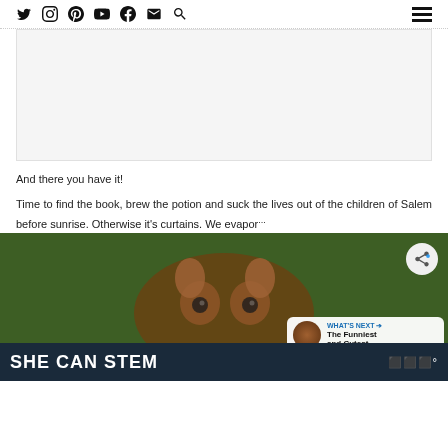Social media icons: Twitter, Instagram, Pinterest, YouTube, Facebook, Email, Search | Hamburger menu
[Figure (other): Advertisement placeholder box, light gray background]
And there you have it!
Time to find the book, brew the potion and suck the lives out of the children of Salem before sunrise. Otherwise it's curtains. We evapor...
[Figure (photo): Blurry close-up photo of what appears to be a bat or animal face with large eyes, green and brown tones. Overlaid: share button, WHAT'S NEXT arrow with The Funniest and Cutest... thumbnail. Bottom banner: SHE CAN STEM on dark navy background with logo.]